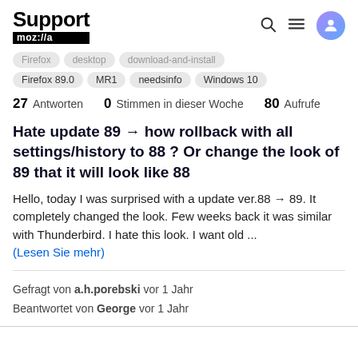Support moz://a
Firefox | desktop | download-and-install
Firefox 89.0 | MR1 | needsinfo | Windows 10
27 Antworten  0 Stimmen in dieser Woche  80 Aufrufe
Hate update 89 → how rollback with all settings/history to 88 ? Or change the look of 89 that it will look like 88
Hello, today I was surprised with a update ver.88 → 89. It completely changed the look. Few weeks back it was similar with Thunderbird. I hate this look. I want old ... (Lesen Sie mehr)
Gefragt von a.h.porebski vor 1 Jahr
Beantwortet von George vor 1 Jahr